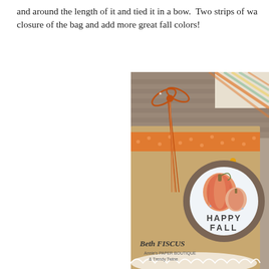and around the length of it and tied it in a bow.  Two strips of wa... closure of the bag and add more great fall colors!
[Figure (photo): A kraft paper gift bag decorated with orange twine tied in a bow at the top, orange polka dot and striped washi tape, orange sequins, and a circular die-cut label with pumpkins and text 'HAPPY FALL'. Watermark reads 'Beth FISCUS, Annies PAPER BOUTIQUE & Trendy Twine'.]